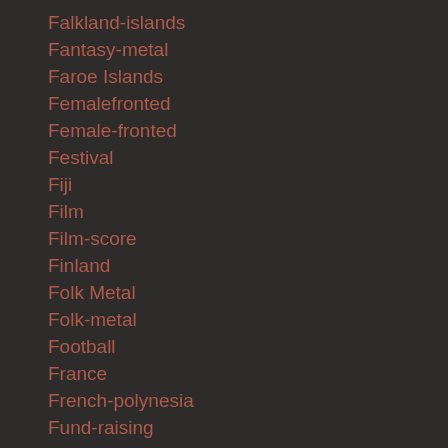Falkland-islands
Fantasy-metal
Faroe Islands
Femalefronted
Female-fronted
Festival
Fiji
Film
Film-score
Finland
Folk Metal
Folk-metal
Football
France
French-polynesia
Fund-raising
Funeral
Fusion
Gabon
Galapagos-islands